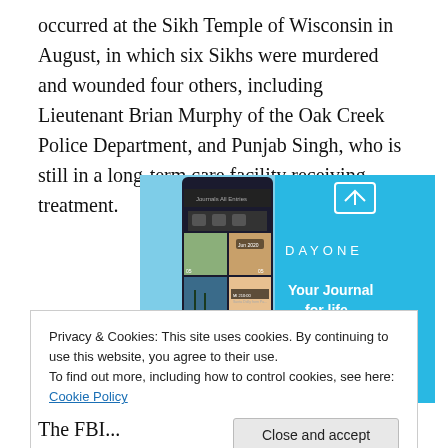occurred at the Sikh Temple of Wisconsin in August, in which six Sikhs were murdered and wounded four others, including Lieutenant Brian Murphy of the Oak Creek Police Department, and Punjab Singh, who is still in a long-term care facility receiving treatment.
[Figure (screenshot): Day One app advertisement showing smartphone screenshots of a journal app interface on a blue background with the text 'DAY ONE - Your Journal for life']
Privacy & Cookies: This site uses cookies. By continuing to use this website, you agree to their use.
To find out more, including how to control cookies, see here: Cookie Policy
The FBI...